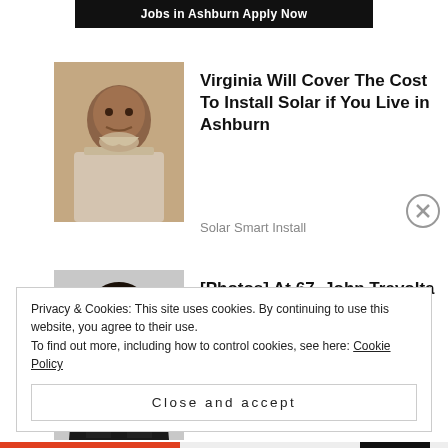[Figure (other): Ad banner with text 'Jobs in Ashburn Apply Now' on dark background]
[Figure (photo): Photo of an older Black man with grey beard]
Virginia Will Cover The Cost To Install Solar if You Live in Ashburn
Solar Smart Install
[Figure (photo): Black and white photo of a young John Travolta in a leather jacket]
[Photos] At 67, John Travolta Is Living In This House With His Partner.
Medicare Records
Privacy & Cookies: This site uses cookies. By continuing to use this website, you agree to their use.
To find out more, including how to control cookies, see here: Cookie Policy
Close and accept